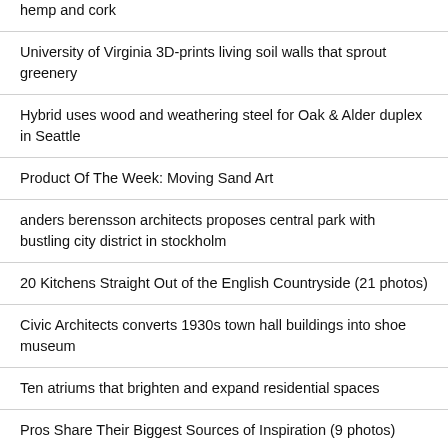hemp and cork
University of Virginia 3D-prints living soil walls that sprout greenery
Hybrid uses wood and weathering steel for Oak & Alder duplex in Seattle
Product Of The Week: Moving Sand Art
anders berensson architects proposes central park with bustling city district in stockholm
20 Kitchens Straight Out of the English Countryside (21 photos)
Civic Architects converts 1930s town hall buildings into shoe museum
Ten atriums that brighten and expand residential spaces
Pros Share Their Biggest Sources of Inspiration (9 photos)